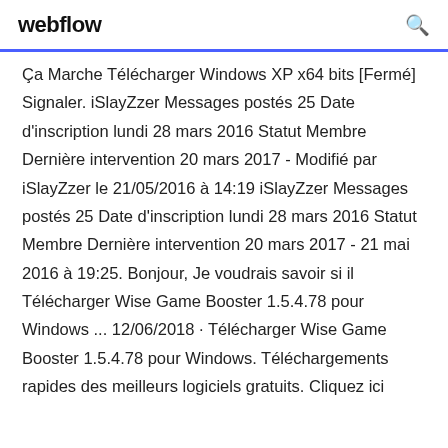webflow
Ça Marche Télécharger Windows XP x64 bits [Fermé] Signaler. iSlayZzer Messages postés 25 Date d'inscription lundi 28 mars 2016 Statut Membre Dernière intervention 20 mars 2017 - Modifié par iSlayZzer le 21/05/2016 à 14:19 iSlayZzer Messages postés 25 Date d'inscription lundi 28 mars 2016 Statut Membre Dernière intervention 20 mars 2017 - 21 mai 2016 à 19:25. Bonjour, Je voudrais savoir si il Télécharger Wise Game Booster 1.5.4.78 pour Windows ... 12/06/2018 · Télécharger Wise Game Booster 1.5.4.78 pour Windows. Téléchargements rapides des meilleurs logiciels gratuits. Cliquez ici